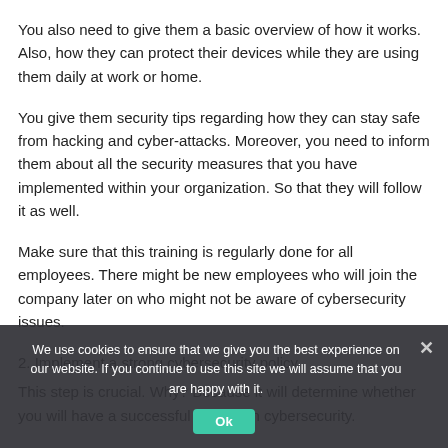You also need to give them a basic overview of how it works. Also, how they can protect their devices while they are using them daily at work or home.
You give them security tips regarding how they can stay safe from hacking and cyber-attacks. Moreover, you need to inform them about all the security measures that you have implemented within your organization. So that they will follow it as well.
Make sure that this training is regularly done for all employees. There might be new employees who will join the company later on who might not be aware of cybersecurity issues.
2. Implement a strong cybersecurity policy
This step is crucial. Why? Because it will determine whether you will have a successful journey in cybersecurity.